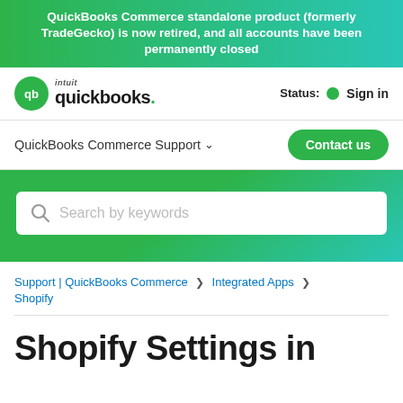QuickBooks Commerce standalone product (formerly TradeGecko) is now retired, and all accounts have been permanently closed
[Figure (logo): Intuit QuickBooks logo with green circle QB icon]
Status: • Sign in
QuickBooks Commerce Support ∨   Contact us
[Figure (screenshot): Search bar with placeholder text 'Search by keywords' on green gradient background]
Support | QuickBooks Commerce > Integrated Apps > Shopify
Shopify Settings in